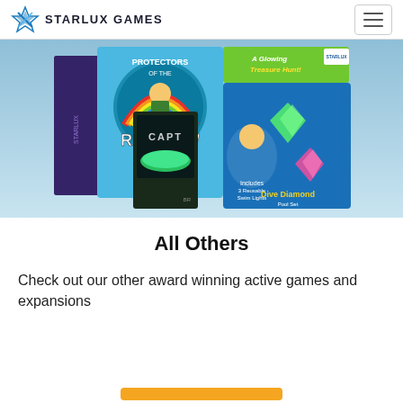STARLUX GAMES
[Figure (photo): Collection of Starlux Games product boxes including Protectors of the Rainbow, a glowing treasure hunt game, Capture (glowing wristband), Dive Diamond pool set with reusable swim lights]
All Others
Check out our other award winning active games and expansions